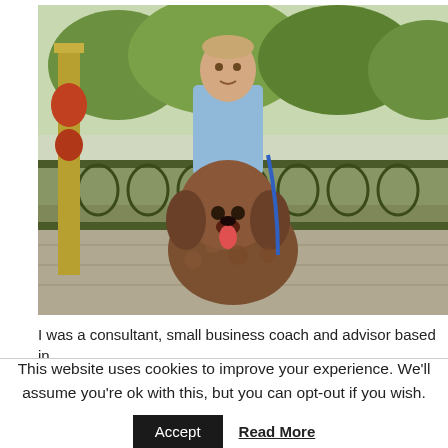[Figure (photo): A man in a light blue shirt standing outdoors on a decorative iron fence bridge/bandstand area with a large brown fluffy dog (labradoodle) sitting in front of him. Green trees and ornate yellow-green metalwork visible in background.]
I was a consultant, small business coach and advisor based in
This website uses cookies to improve your experience. We'll assume you're ok with this, but you can opt-out if you wish.